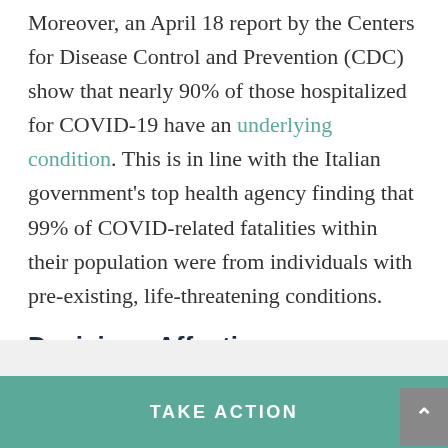Moreover, an April 18 report by the Centers for Disease Control and Prevention (CDC) show that nearly 90% of those hospitalized for COVID-19 have an underlying condition. This is in line with the Italian government's top health agency finding that 99% of COVID-related fatalities within their population were from individuals with pre-existing, life-threatening conditions.
Decisions Affecting Millions Are Being Made Based On “Suspected” COVID Deaths
Both the US health statistics agency and the World
TAKE ACTION